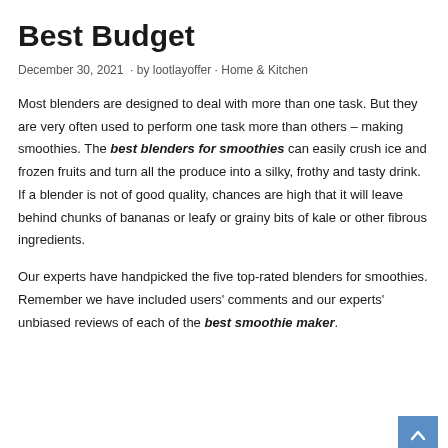Best Budget
December 30, 2021  · by lootlayoffer · Home & Kitchen
Most blenders are designed to deal with more than one task. But they are very often used to perform one task more than others – making smoothies. The best blenders for smoothies can easily crush ice and frozen fruits and turn all the produce into a silky, frothy and tasty drink. If a blender is not of good quality, chances are high that it will leave behind chunks of bananas or leafy or grainy bits of kale or other fibrous ingredients.
Our experts have handpicked the five top-rated blenders for smoothies. Remember we have included users' comments and our experts' unbiased reviews of each of the best smoothie maker.